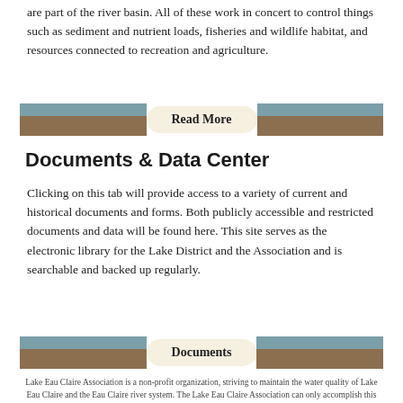are part of the river basin. All of these work in concert to control things such as sediment and nutrient loads, fisheries and wildlife habitat, and resources connected to recreation and agriculture.
[Figure (other): Read More button bar with teal and brown horizontal band]
Documents & Data Center
Clicking on this tab will provide access to a variety of current and historical documents and forms. Both publicly accessible and restricted documents and data will be found here. This site serves as the electronic library for the Lake District and the Association and is searchable and backed up regularly.
[Figure (other): Documents button bar with teal and brown horizontal band]
Lake Eau Claire Association is a non-profit organization, striving to maintain the water quality of Lake Eau Claire and the Eau Claire river system. The Lake Eau Claire Association can only accomplish this with your help. You may donate to a specific Lake Eau Claire event or make an all purpose donation to the organization. Your help is greatly appreciated. > More Information <